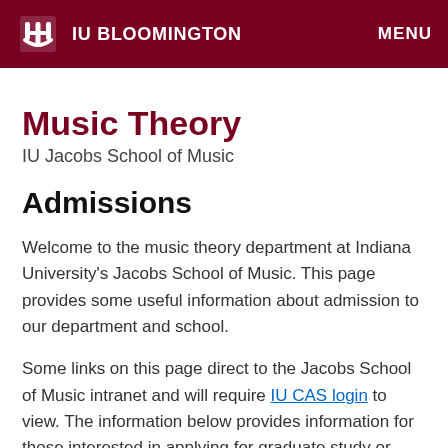IU BLOOMINGTON  MENU
Music Theory
IU Jacobs School of Music
Admissions
Welcome to the music theory department at Indiana University's Jacobs School of Music. This page provides some useful information about admission to our department and school.
Some links on this page direct to the Jacobs School of Music intranet and will require IU CAS login to view. The information below provides information for those interested in applying for graduate study or Associate